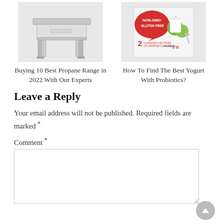[Figure (photo): Product image of a stainless steel propane range stand with legs]
Buying 10 Best Propane Range in 2022 With Our Experts
[Figure (photo): Product image of a yogurt starter kit box labeled Non-GMO Gluten Free, contains 2 bottles of starter cultures]
How To Find The Best Yogurt With Probiotics?
Leave a Reply
Your email address will not be published. Required fields are marked *
Comment *